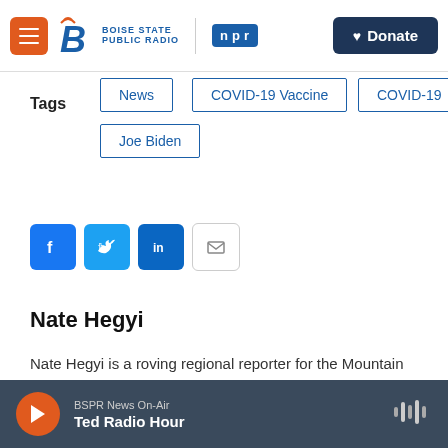[Figure (logo): Boise State Public Radio and NPR header with menu button, logo, and Donate button]
Tags
News
COVID-19 Vaccine
COVID-19
Joe Biden
[Figure (infographic): Social share buttons: Facebook, Twitter, LinkedIn, Email]
Nate Hegyi
Nate Hegyi is a roving regional reporter for the Mountain West News Bureau, based at Nevada Public Radio. You can reach him at natehegyi@protonmail.com.
BSPR News On-Air Ted Radio Hour